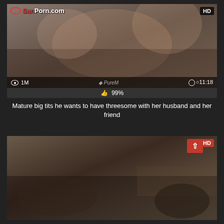[Figure (screenshot): Video thumbnail showing adult content with SanPorn.com logo, HD badge, 1M views, PureM watermark, 11:18 duration, 99% like rating]
Mature big tits he wants to have threesome with her husband and her friend
[Figure (screenshot): Second video thumbnail showing adult content with HD badge and red up-arrow button]